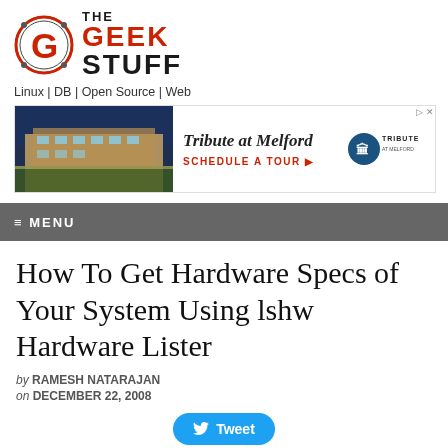[Figure (logo): The Geek Stuff logo: red circle with G, bold text THE GEEK STUFF]
Linux | DB | Open Source | Web
[Figure (photo): Advertisement banner: Tribute at Melford - building photo with Schedule a Tour CTA]
≡ MENU
How To Get Hardware Specs of Your System Using lshw Hardware Lister
by RAMESH NATARAJAN
on DECEMBER 22, 2008
[Figure (other): Tweet button]